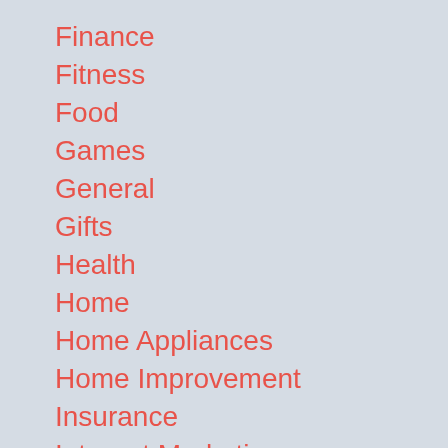Finance
Fitness
Food
Games
General
Gifts
Health
Home
Home Appliances
Home Improvement
Insurance
Internet Marketing